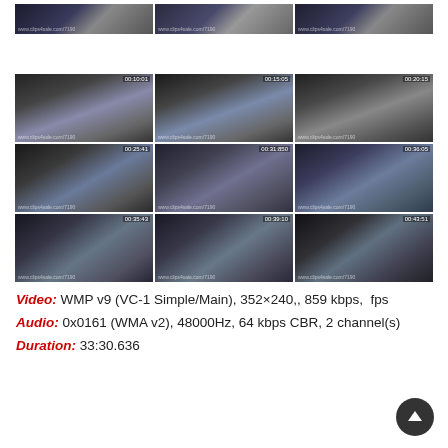[Figure (photo): Grid of 12 video thumbnails arranged in 4 rows and 3 columns, showing video stills with timestamps and watermarks]
Video: WMP v9 (VC-1 Simple/Main), 352×240,, 859 kbps,  fps
Audio: 0x0161 (WMA v2), 48000Hz, 64 kbps CBR, 2 channel(s)
Duration: 33:30.636